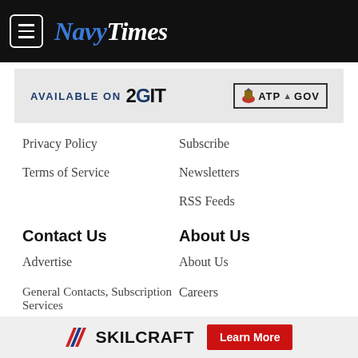NavyTimes
[Figure (infographic): Advertisement banner: AVAILABLE ON 2GIT | ATP.GOV]
Privacy Policy
Subscribe
Terms of Service
Newsletters
RSS Feeds
Contact Us
About Us
Advertise
About Us
General Contacts, Subscription Services
Careers
Editorial Staff
Jobs for Veterans
[Figure (infographic): SKILCRAFT advertisement banner with Learn More button]